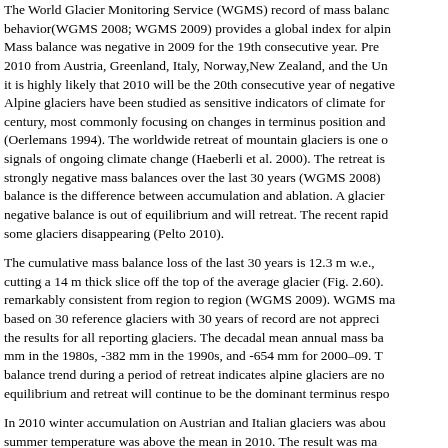The World Glacier Monitoring Service (WGMS) record of mass balance behavior(WGMS 2008; WGMS 2009) provides a global index for alpine glacier mass balance behavior. Mass balance was negative in 2009 for the 19th consecutive year. Preliminary data available in 2010 from Austria, Greenland, Italy, Norway,New Zealand, and the United States indicates it is highly likely that 2010 will be the 20th consecutive year of negative mass balance. Alpine glaciers have been studied as sensitive indicators of climate for more than a century, most commonly focusing on changes in terminus position and mass balance (Oerlemans 1994). The worldwide retreat of mountain glaciers is one of the clearest signals of ongoing climate change (Haeberli et al. 2000). The retreat is associated with strongly negative mass balances over the last 30 years (WGMS 2008). Glacier mass balance is the difference between accumulation and ablation. A glacier with a negative balance is out of equilibrium and will retreat. The recent rapid retreat has led to some glaciers disappearing (Pelto 2010).
The cumulative mass balance loss of the last 30 years is 12.3 m w.e., equivalent to cutting a 14 m thick slice off the top of the average glacier (Fig. 2.60). The loss is remarkably consistent from region to region (WGMS 2009). WGMS mass balance results based on 30 reference glaciers with 30 years of record are not appreciably different from the results for all reporting glaciers. The decadal mean annual mass balance was -198 mm in the 1980s, -382 mm in the 1990s, and -654 mm for 2000–09. The increasingly negative balance trend during a period of retreat indicates alpine glaciers are not approaching equilibrium and retreat will continue to be the dominant terminus response.
In 2010 winter accumulation on Austrian and Italian glaciers was about average, but summer temperature was above the mean in 2010. The result was mass balance loss on glaciers in the Alps: Sonnblickkees, Austria, -790 mm; Careser, Italy,